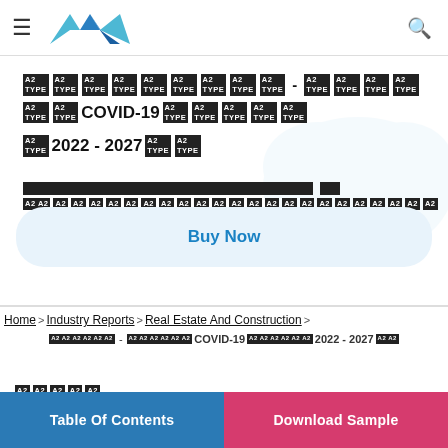[Navigation header with logo and search icon]
[REDACTED] - [REDACTED] COVID-19 [REDACTED] 2022 - 2027 [REDACTED]
[REDACTED description line]
Buy Now
Home > Industry Reports > Real Estate And Construction > [REDACTED] - [REDACTED] COVID-19 [REDACTED] 2022 - 2027 [REDACTED]
[Figure (logo): Small redacted icon/logo block]
Table Of Contents | Download Sample